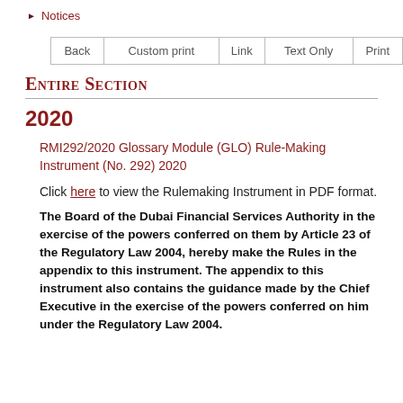Notices
| Back | Custom print | Link | Text Only | Print |
| --- | --- | --- | --- | --- |
Entire Section
2020
RMI292/2020 Glossary Module (GLO) Rule-Making Instrument (No. 292) 2020
Click here to view the Rulemaking Instrument in PDF format.
The Board of the Dubai Financial Services Authority in the exercise of the powers conferred on them by Article 23 of the Regulatory Law 2004, hereby make the Rules in the appendix to this instrument. The appendix to this instrument also contains the guidance made by the Chief Executive in the exercise of the powers conferred on him under the Regulatory Law 2004.